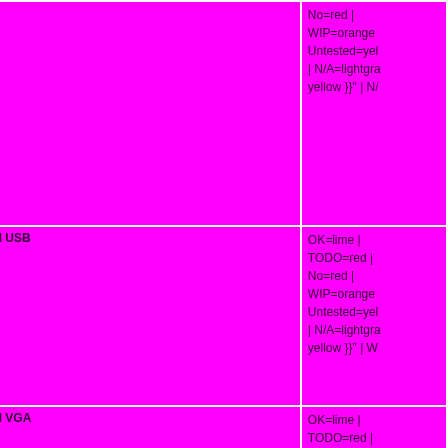| Feature | Status Legend |
| --- | --- |
|  | No=red | WIP=orange | Untested=yellow | N/A=lightgray yellow }}" | N/ |
| On-board USB | OK=lime | TODO=red | No=red | WIP=orange | Untested=yellow | N/A=lightgra yellow }}" | W |
| On-board VGA | OK=lime | TODO=red | No=red | WIP=orange | Untested=yellow | N/A=lightgra yellow }}" | OK |
| On-board Ethernet | OK=lime | TODO=red | No=red | |